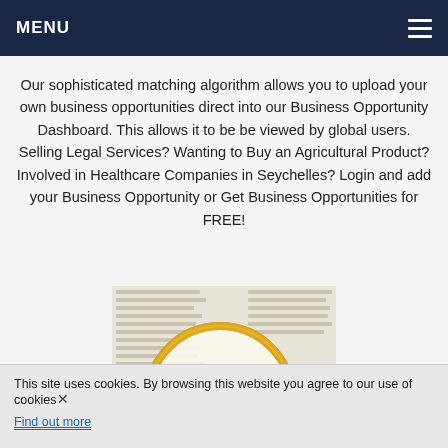MENU
Our sophisticated matching algorithm allows you to upload your own business opportunities direct into our Business Opportunity Dashboard. This allows it to be be viewed by global users. Selling Legal Services? Wanting to Buy an Agricultural Product? Involved in Healthcare Companies in Seychelles? Login and add your Business Opportunity or Get Business Opportunities for FREE!
[Figure (photo): A magnifying glass over a dictionary page showing the word 'Invest' with its phonetic pronunciation /in-vest/ and definition: 1. To put money into a scheme, or other financial item or to buy something with the expectation it will increase in value.]
This site uses cookies. By browsing this website you agree to our use of cookies. Find out more